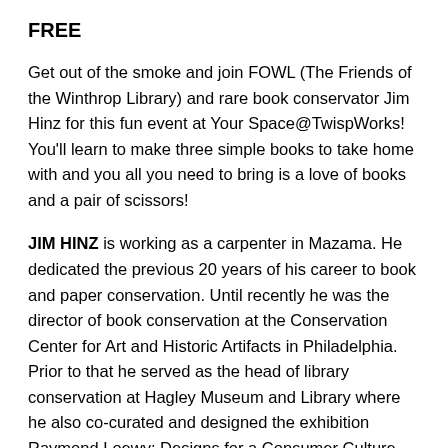FREE
Get out of the smoke and join FOWL (The Friends of the Winthrop Library) and rare book conservator Jim Hinz for this fun event at Your Space@TwispWorks! You'll learn to make three simple books to take home with and you all you need to bring is a love of books and a pair of scissors!
JIM HINZ is working as a carpenter in Mazama. He dedicated the previous 20 years of his career to book and paper conservation. Until recently he was the director of book conservation at the Conservation Center for Art and Historic Artifacts in Philadelphia. Prior to that he served as the head of library conservation at Hagley Museum and Library where he also co-curated and designed the exhibition Raymond Loewy: Designs for a Consumer Culture, which received a NEA American